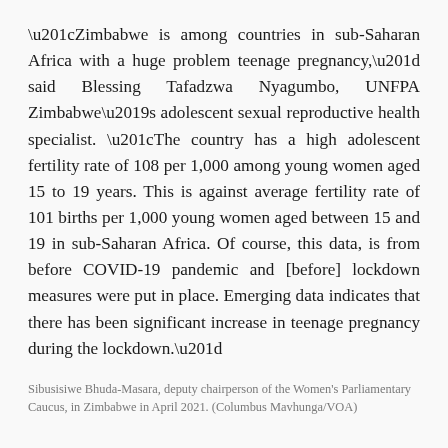“Zimbabwe is among countries in sub-Saharan Africa with a huge problem teenage pregnancy,” said Blessing Tafadzwa Nyagumbo, UNFPA Zimbabwe’s adolescent sexual reproductive health specialist. “The country has a high adolescent fertility rate of 108 per 1,000 among young women aged 15 to 19 years. This is against average fertility rate of 101 births per 1,000 young women aged between 15 and 19 in sub-Saharan Africa. Of course, this data, is from before COVID-19 pandemic and [before] lockdown measures were put in place. Emerging data indicates that there has been significant increase in teenage pregnancy during the lockdown.”
Sibusisiwe Bhuda-Masara, deputy chairperson of the Women's Parliamentary Caucus, in Zimbabwe in April 2021. (Columbus Mavhunga/VOA)